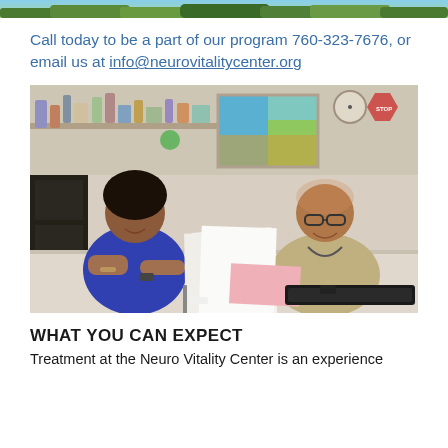[Figure (photo): Top strip showing outdoor greenery/nature scene cropped at top of page]
Call today to be a part of our program 760-323-7676, or email us at info@neurovitalitycenter.org
[Figure (photo): Two people sitting at a table reviewing documents together in what appears to be an art therapy room. A woman with dark hair wearing a blue patterned top is on the left, and a bald man with glasses wearing a tan t-shirt is on the right. Colorful artwork is visible on the wall behind them.]
WHAT YOU CAN EXPECT
Treatment at the Neuro Vitality Center is an experience